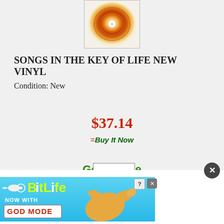[Figure (illustration): Album cover for Songs in the Key of Life by Stevie Wonder - circular rose/spiral design in red, orange and cream tones]
SONGS IN THE KEY OF LIFE NEW VINYL
Condition: New
$37.14
=Buy It Now
Go to store
[Figure (illustration): BitLife - Now with GOD MODE advertisement banner with hand pointing graphic]